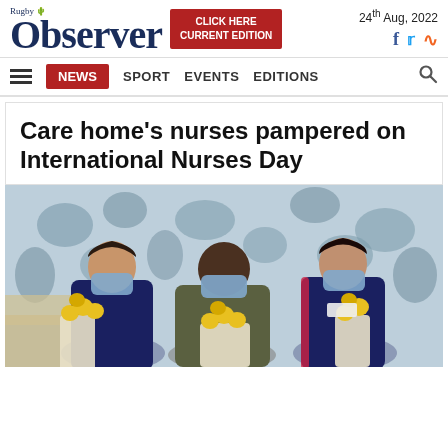Rugby Observer — 24th Aug, 2022
NEWS  SPORT  EVENTS  EDITIONS
Care home's nurses pampered on International Nurses Day
[Figure (photo): Three nurses wearing blue uniforms and face masks holding yellow flower bouquets, standing in a care home lounge with floral wallpaper background]